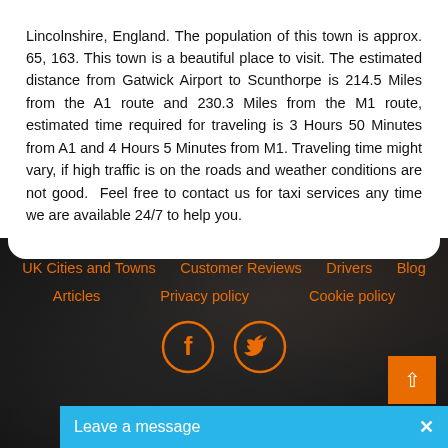Lincolnshire, England. The population of this town is approx. 65, 163. This town is a beautiful place to visit. The estimated distance from Gatwick Airport to Scunthorpe is 214.5 Miles from the A1 route and 230.3 Miles from the M1 route, estimated time required for traveling is 3 Hours 50 Minutes from A1 and 4 Hours 5 Minutes from M1. Traveling time might vary, if high traffic is on the roads and weather conditions are not good. Feel free to contact us for taxi services any time we are available 24/7 to help you.
UK Cities and Towns   Customer Reviews   Drivers   Blog   Articles   Privacy policy   Cookie policy